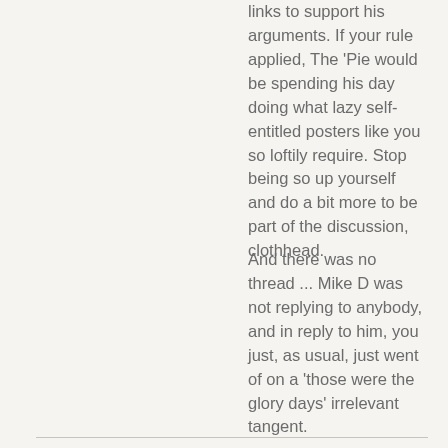links to support his arguments. If your rule applied, The 'Pie would be spending his day doing what lazy self-entitled posters like you so loftily require. Stop being so up yourself and do a bit more to be part of the discussion, clothhead.
And there was no thread ... Mike D was not replying to anybody, and in reply to him, you just, as usual, just went of on a 'those were the glory days' irrelevant tangent.